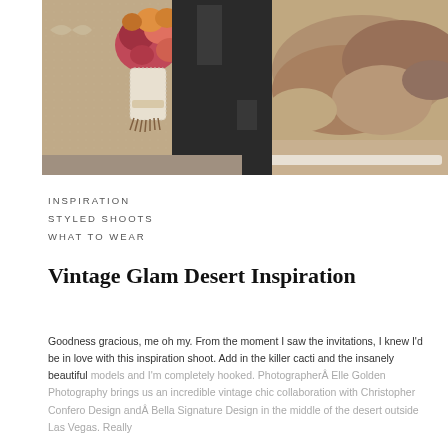[Figure (photo): Wedding couple in desert setting: bride in champagne/taupe lace dress holding a vintage bouquet with flowers and lace wrap, groom in dark suit, rocky desert landscape in background with light-colored railing]
INSPIRATION
STYLED SHOOTS
WHAT TO WEAR
Vintage Glam Desert Inspiration
Goodness gracious, me oh my. From the moment I saw the invitations, I knew I'd be in love with this inspiration shoot. Add in the killer cacti and the insanely beautiful models and I'm completely hooked. PhotographerÂ Elle Golden Photography brings us an incredible vintage chic collaboration with Christopher Confero Design andÂ Bella Signature Design in the middle of the desert outside Las Vegas. Really